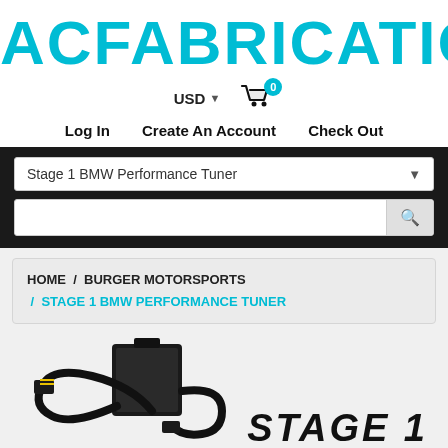[Figure (logo): ACFABRICATION logo in large cyan/teal bold text]
USD  ▼  [cart icon with badge 0]
Log In   Create An Account   Check Out
Stage 1 BMW Performance Tuner [dropdown]
[search bar with search button]
HOME / BURGER MOTORSPORTS / STAGE 1 BMW PERFORMANCE TUNER
[Figure (photo): Stage 1 BMW Performance Tuner device with cables and connectors, shown against white background. Text 'STAGE 1' visible at bottom right in bold italic black.]